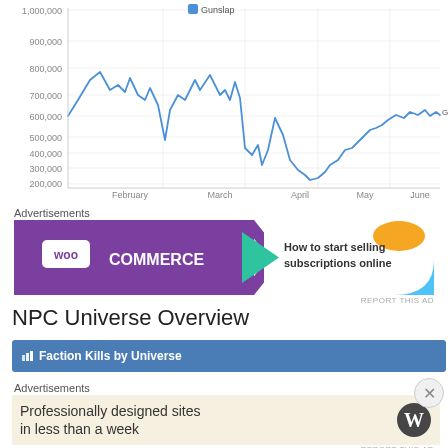[Figure (continuous-plot): Line chart showing Gunslap metric over time from February to June. Values range from approximately 200,000 to 1,000,000. The line starts around 600,000 in January/February, rises to peaks near 900,000 in February-March, drops sharply to around 350,000 in March, recovers partially to ~750,000, then declines to a low near 200,000 in April-May, and rises again toward 600,000 in June. Legend shows 'Gunslap' series. Y-axis: 200,000 to 1,000,000. X-axis: February, March, April, May, June.]
Advertisements
[Figure (illustration): WooCommerce advertisement banner. Purple background on left with WooCommerce logo (woo in rounded rectangle + COMMERCE text) and green arrow/triangle. White right side with orange blob and blue arc shapes. Text reads: How to start selling subscriptions online]
REPORT THIS AD
NPC Universe Overview
Faction Kills by Universe
Advertisements
[Figure (illustration): WordPress advertisement. Beige/cream background. Text: Professionally designed sites in less than a week. WordPress logo (W in circle) on the right.]
REPORT THIS AD